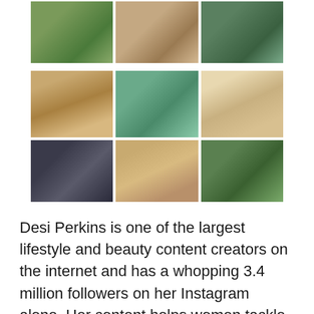[Figure (photo): A 3x3 grid of Instagram-style lifestyle and beauty photos showing outdoor scenes, natural landscapes with water, a woman with a large hat and sunglasses, a man and woman together, a woman in a tent doorway, and a woman under tropical foliage.]
Desi Perkins is one of the largest lifestyle and beauty content creators on the internet and has a whopping 3.4 million followers on her Instagram alone. Her content helps women tackle the ever daunting requirement of creating effortlessly beautiful looks with make-up. She offers